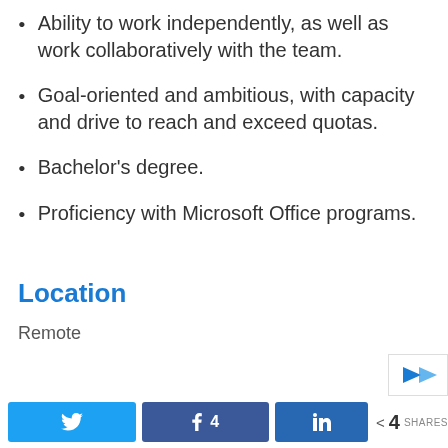Ability to work independently, as well as work collaboratively with the team.
Goal-oriented and ambitious, with capacity and drive to reach and exceed quotas.
Bachelor’s degree.
Proficiency with Microsoft Office programs.
Location
Remote
[Figure (other): Social sharing bar with Twitter, Facebook (4 shares), LinkedIn buttons and a share count of 4]